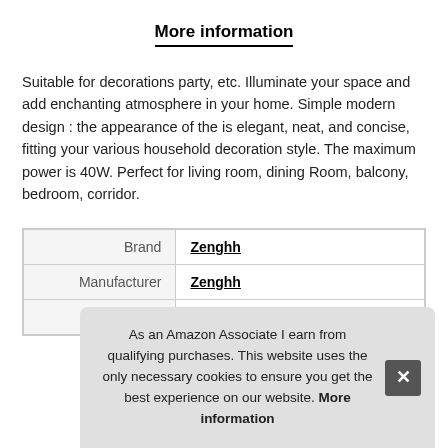More information
Suitable for decorations party, etc. Illuminate your space and add enchanting atmosphere in your home. Simple modern design : the appearance of the is elegant, neat, and concise, fitting your various household decoration style. The maximum power is 40W. Perfect for living room, dining Room, balcony, bedroom, corridor.
| Brand | Zenghh |
| Manufacturer | Zenghh |
| P |  |
As an Amazon Associate I earn from qualifying purchases. This website uses the only necessary cookies to ensure you get the best experience on our website. More information